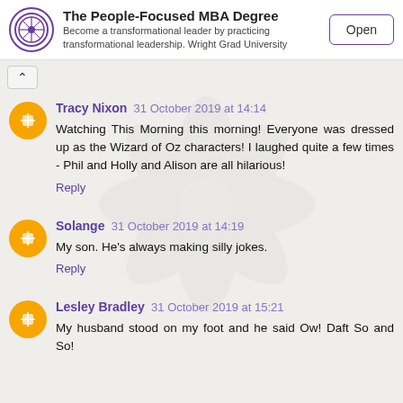[Figure (other): Advertisement banner: Wright Grad University purple logo circle, title 'The People-Focused MBA Degree', subtitle 'Become a transformational leader by practicing transformational leadership. Wright Grad University', and an 'Open' button.]
Tracy Nixon 31 October 2019 at 14:14
Watching This Morning this morning! Everyone was dressed up as the Wizard of Oz characters! I laughed quite a few times - Phil and Holly and Alison are all hilarious!
Reply
Solange 31 October 2019 at 14:19
My son. He's always making silly jokes.
Reply
Lesley Bradley 31 October 2019 at 15:21
My husband stood on my foot and he said Ow! Daft So and So!